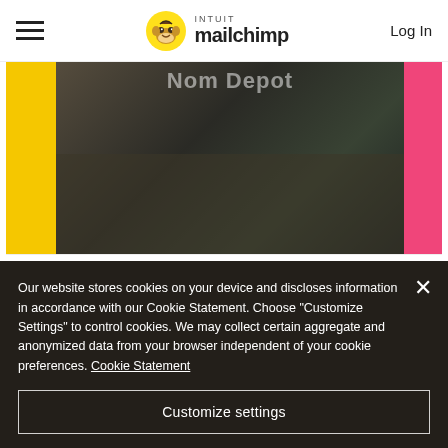Intuit Mailchimp — Log In
[Figure (screenshot): Mailchimp app screenshot showing The Nom Depot campaign page with yellow and pink side panels, dark interior photo, edit/show/subs icons, and a teal blue bar below]
B...
Our website stores cookies on your device and discloses information in accordance with our Cookie Statement. Choose "Customize Settings" to control cookies. We may collect certain aggregate and anonymized data from your browser independent of your cookie preferences. Cookie Statement
Customize settings